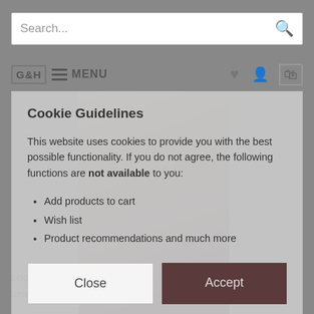Search...
G&H MENU
Cookie Guidelines
This website uses cookies to provide you with the best possible functionality. If you do not agree, the following functions are not available to you:
Add products to cart
Wish list
Product recommendations and much more
Close | Accept
[Figure (photo): A woman in a red/maroon halter dress, semi-transparent overlay behind the cookie consent dialog]
Looking back at 2018 and taking a trip down memory lane season by season